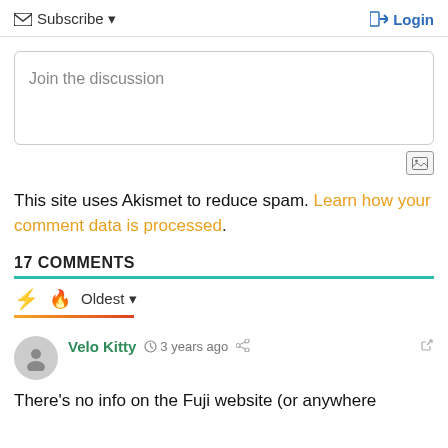Subscribe ▼   Login
Join the discussion
This site uses Akismet to reduce spam. Learn how your comment data is processed.
17 COMMENTS
Oldest ▼
Velo Kitty  3 years ago
There's no info on the Fuji website (or anywhere